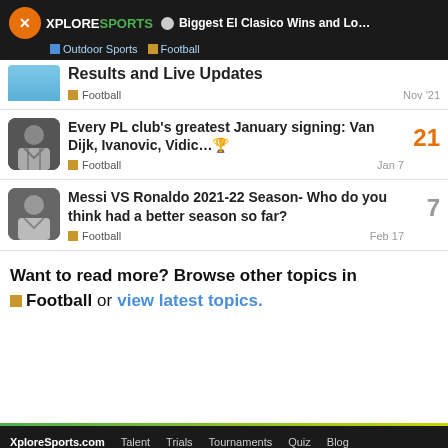Biggest El Clasico Wins and Lo... | Outdoor Sports | Football | XploreSports
Results and Live Updates | Football | Nov '21
Every PL club's greatest January signing: Van Dijk, Ivanovic, Vidic…🏆 | Football | Jan 7 | 21 replies
Messi VS Ronaldo 2021-22 Season- Who do you think had a better season so far? | Football | Feb 17 | 7 replies
Want to read more? Browse other topics in Football or view latest topics.
XploreSports.com   Talent   Trials   Tournaments   Quiz   Blog